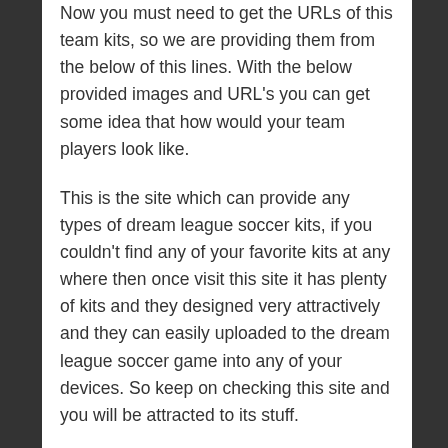Now you must need to get the URLs of this team kits, so we are providing them from the below of this lines. With the below provided images and URL's you can get some idea that how would your team players look like.
This is the site which can provide any types of dream league soccer kits, if you couldn't find any of your favorite kits at any where then once visit this site it has plenty of kits and they designed very attractively and they can easily uploaded to the dream league soccer game into any of your devices. So keep on checking this site and you will be attracted to its stuff.
Jersey's Of The Stoke City F.C. Kits DLS 2022